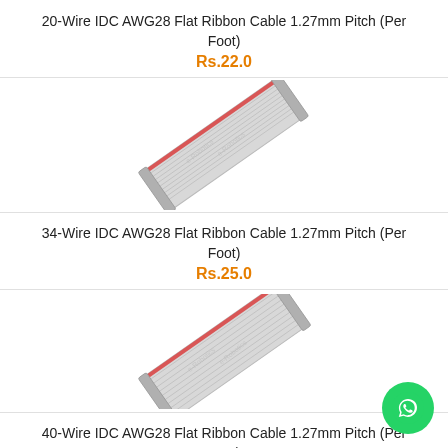20-Wire IDC AWG28 Flat Ribbon Cable 1.27mm Pitch (Per Foot)
Rs.22.0
[Figure (photo): Flat ribbon cable photo rotated diagonally, grey with red stripe, watermarked]
34-Wire IDC AWG28 Flat Ribbon Cable 1.27mm Pitch (Per Foot)
Rs.25.0
[Figure (photo): Flat ribbon cable photo rotated diagonally, grey with red stripe, watermarked]
40-Wire IDC AWG28 Flat Ribbon Cable 1.27mm Pitch (Per Foot)
Rs.55.0